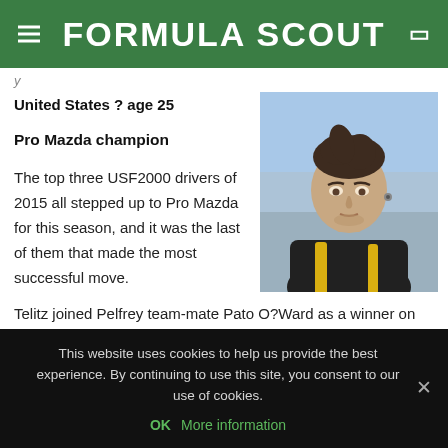FORMULA SCOUT
United States ? age 25
Pro Mazda champion
[Figure (photo): Racing driver in black and yellow racing suit standing at a circuit, looking to one side, with blurred paddock background]
The top three USF2000 drivers of 2015 all stepped up to Pro Mazda for this season, and it was the last of them that made the most successful move.
Telitz joined Pelfrey team-mate Pato O?Ward as a winner on the opening weekend in St. Petersburg, before the second year
This website uses cookies to help us provide the best experience. By continuing to use this site, you consent to our use of cookies.
OK   More information